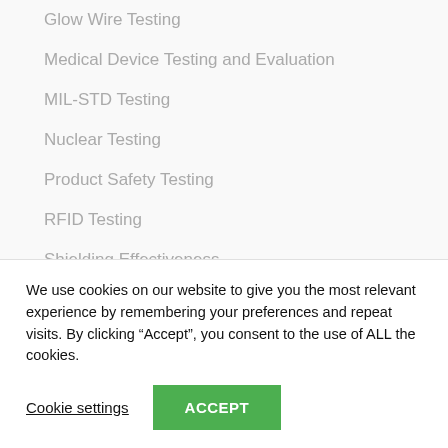Glow Wire Testing
Medical Device Testing and Evaluation
MIL-STD Testing
Nuclear Testing
Product Safety Testing
RFID Testing
Shielding Effectiveness
Specialized Services
Standards and References
We use cookies on our website to give you the most relevant experience by remembering your preferences and repeat visits. By clicking “Accept”, you consent to the use of ALL the cookies.
Cookie settings
ACCEPT